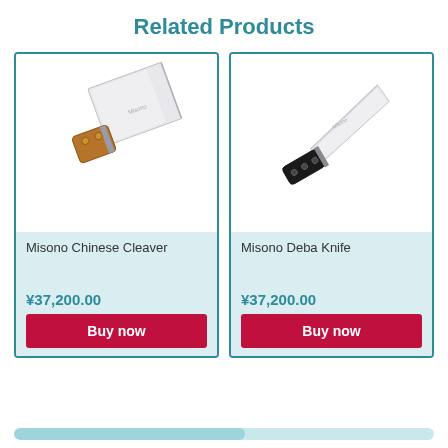Related Products
[Figure (photo): Misono Chinese Cleaver - a rectangular blade cleaver with a wooden handle, shown at a slight angle]
Misono Chinese Cleaver
¥37,200.00
Buy now
[Figure (photo): Misono Deba Knife - a Japanese deba knife with a white blade and black handle with rivets, shown diagonally]
Misono Deba Knife
¥37,200.00
Buy now